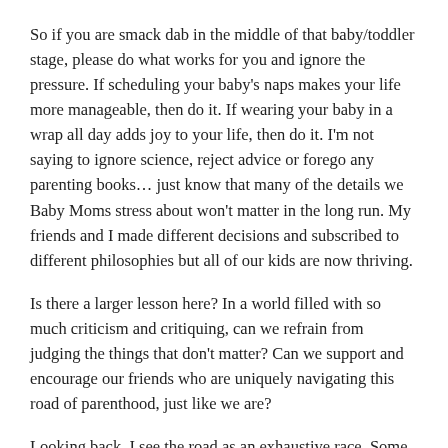So if you are smack dab in the middle of that baby/toddler stage, please do what works for you and ignore the pressure. If scheduling your baby's naps makes your life more manageable, then do it. If wearing your baby in a wrap all day adds joy to your life, then do it. I'm not saying to ignore science, reject advice or forego any parenting books… just know that many of the details we Baby Moms stress about won't matter in the long run. My friends and I made different decisions and subscribed to different philosophies but all of our kids are now thriving.
Is there a larger lesson here? In a world filled with so much criticism and critiquing, can we refrain from judging the things that don't matter? Can we support and encourage our friends who are uniquely navigating this road of parenthood, just like we are?
Looking back, I see the road as an exhaustive race. Some families hopped towards the finish, some ran, some rode their bikes, some were fast while others were slow but they all made it across the finish line. Our children received their hugs and medals, graduated to new stages of independence and together we journeyed to the next leg.